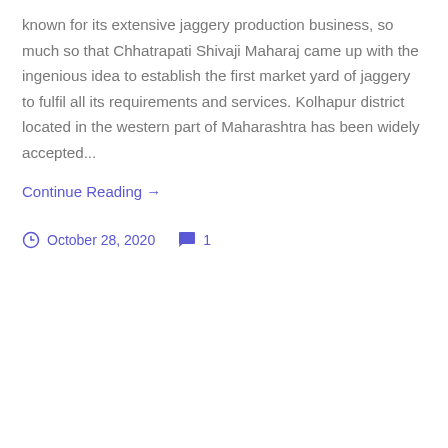known for its extensive jaggery production business, so much so that Chhatrapati Shivaji Maharaj came up with the ingenious idea to establish the first market yard of jaggery to fulfil all its requirements and services. Kolhapur district located in the western part of Maharashtra has been widely accepted...
Continue Reading →
October 28, 2020   1
Memang Narang of Meghalaya
[Figure (photo): Close-up photo of orange fruits (Memang Narang) with green leaves visible, photographed in warm lighting showing vibrant orange color.]